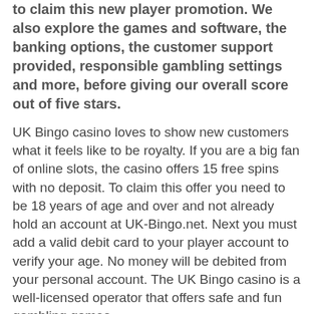with the 15 free spins bonus details as well as how to claim this new player promotion. We also explore the games and software, the banking options, the customer support provided, responsible gambling settings and more, before giving our overall score out of five stars.
UK Bingo casino loves to show new customers what it feels like to be royalty. If you are a big fan of online slots, the casino offers 15 free spins with no deposit. To claim this offer you need to be 18 years of age and over and not already hold an account at UK-Bingo.net. Next you must add a valid debit card to your player account to verify your age. No money will be debited from your personal account. The UK Bingo casino is a well-licensed operator that offers safe and fun gambling games.
[Figure (other): Green rounded button with white bold text reading 'Visit UK Bingo Casino']